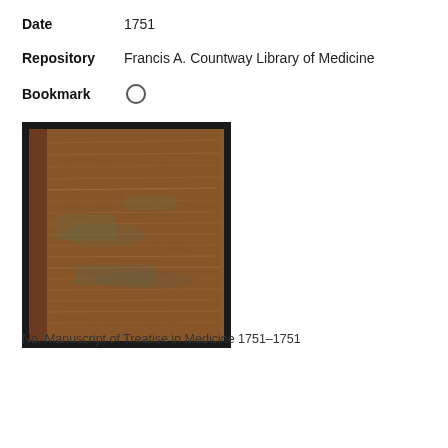Date   1751
Repository   Francis A. Countway Library of Medicine
Bookmark   ○
[Figure (photo): Photograph of an old worn book cover, brown/tan leather with aged markings, circa 1751]
No. Manuscript of Treatise in Medicine 1751–1751